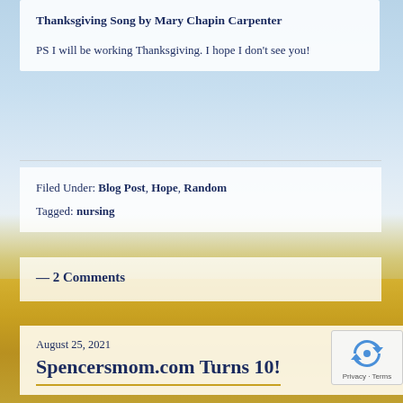Thanksgiving Song by Mary Chapin Carpenter
PS I will be working Thanksgiving. I hope I don't see you!
Filed Under: Blog Post, Hope, Random
Tagged: nursing
— 2 Comments
August 25, 2021
Spencersmom.com Turns 10!